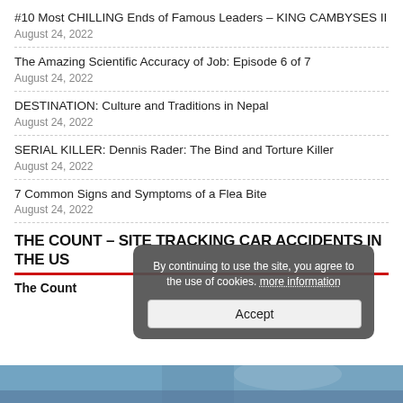#10 Most CHILLING Ends of Famous Leaders – KING CAMBYSES II
August 24, 2022
The Amazing Scientific Accuracy of Job: Episode 6 of 7
August 24, 2022
DESTINATION: Culture and Traditions in Nepal
August 24, 2022
SERIAL KILLER: Dennis Rader: The Bind and Torture Killer
August 24, 2022
7 Common Signs and Symptoms of a Flea Bite
August 24, 2022
THE COUNT – SITE TRACKING CAR ACCIDENTS IN THE US
The Count
[Figure (photo): Partial view of a person outdoors, bottom strip of the page]